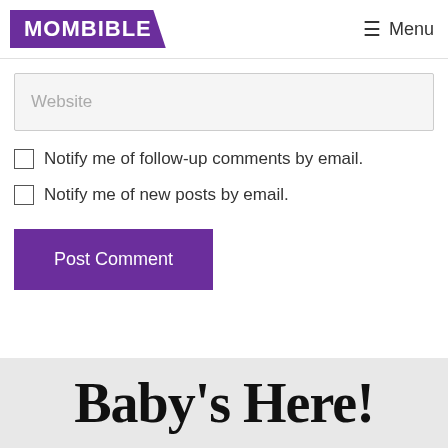MOMBIBLE  Menu
Website
Notify me of follow-up comments by email.
Notify me of new posts by email.
Post Comment
Baby's Here!